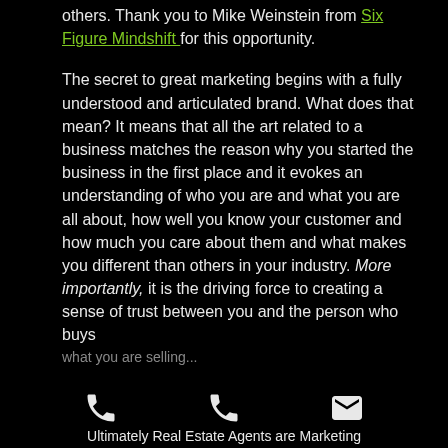others. Thank you to Mike Weinstein from Six Figure Mindshift for this opportunity.
The secret to great marketing begins with a fully understood and articulated brand. What does that mean? It means that all the art related to a business matches the reason why you started the business in the first place and it evokes an understanding of who you are and what you are all about, how well you know your customer and how much you care about them and what makes you different than others in your industry. More importantly, it is the driving force to creating a sense of trust between you and the person who buys what you are selling.
[Figure (infographic): Two phone icons and one email envelope icon in a row at the bottom of the screen]
Ultimately Real Estate Agents are Marketing